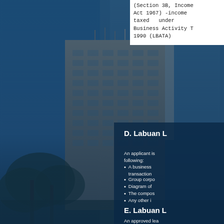[Figure (photo): Photograph of a tall multi-story office building with a blue glass tower behind it, trees in the foreground, against a blue sky. The scene appears to be in Labuan, Malaysia.]
(Section 3B, Income Tax Act 1967) -income not taxed under Business Activity Tax 1990 (LBATA)
D. Labuan L
An applicant is following:
A business transaction
Group corpo
Diagram of
The compos
Any other i
E. Labuan L
An approved lea